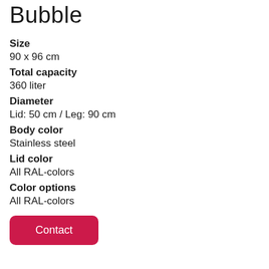Bubble
Size
90 x 96 cm
Total capacity
360 liter
Diameter
Lid: 50 cm / Leg: 90 cm
Body color
Stainless steel
Lid color
All RAL-colors
Color options
All RAL-colors
Contact